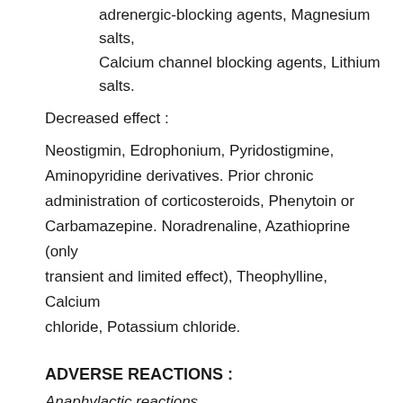adrenergic-blocking agents, Magnesium salts, Calcium channel blocking agents, Lithium salts.
Decreased effect :
Neostigmin, Edrophonium, Pyridostigmine, Aminopyridine derivatives. Prior chronic administration of corticosteroids, Phenytoin or Carbamazepine. Noradrenaline, Azathioprine (only transient and limited effect), Theophylline, Calcium chloride, Potassium chloride.
ADVERSE REACTIONS :
Anaphylactic reactions
Although